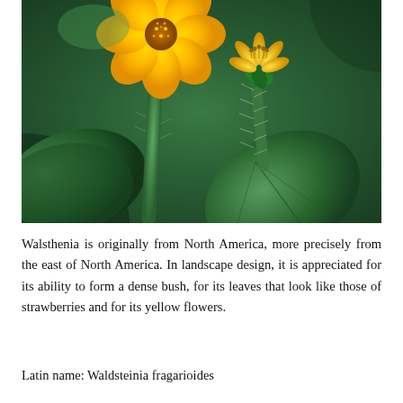[Figure (photo): Close-up photograph of Waldsteinia fragarioides (Walsthenia) showing two yellow flowers — one fully open and one budding — on green stems with hairy texture and large green leaves in the background.]
Walsthenia is originally from North America, more precisely from the east of North America. In landscape design, it is appreciated for its ability to form a dense bush, for its leaves that look like those of strawberries and for its yellow flowers.
Latin name: Waldsteinia fragarioides